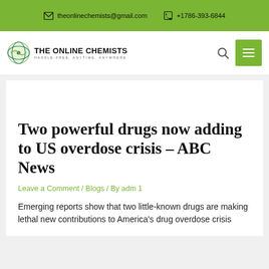theonlinechemists@gmail.com  +1786-393-6844
[Figure (logo): The Online Chemists logo with globe icon and text 'THE ONLINE CHEMISTS HASSLE-FREE, ANYTIME, ANYWHERE']
Two powerful drugs now adding to US overdose crisis – ABC News
Leave a Comment / Blogs / By adm 1
Emerging reports show that two little-known drugs are making lethal new contributions to America's drug overdose crisis